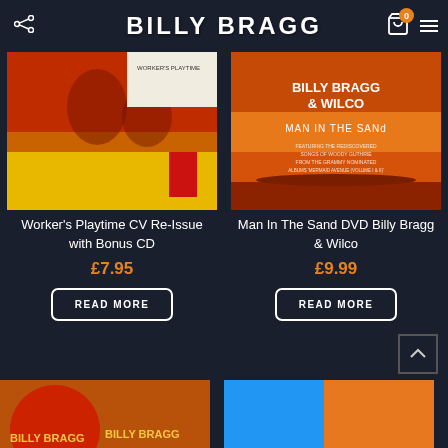BILLY BRAGG
[Figure (photo): Album cover for Worker's Playtime CV Re-Issue with Bonus CD - featuring red/yellow artistic design]
Worker's Playtime CV Re-Issue with Bonus CD
£7.95
READ MORE
[Figure (photo): DVD cover for Man In The Sand - Billy Bragg & Wilco, orange/desert background with white text]
Man In The Sand DVD Billy Bragg & Wilco
£9.99
READ MORE
[Figure (photo): Partial view of another product at the bottom left]
[Figure (photo): Partial view of another product at the bottom right with blue and orange sections]